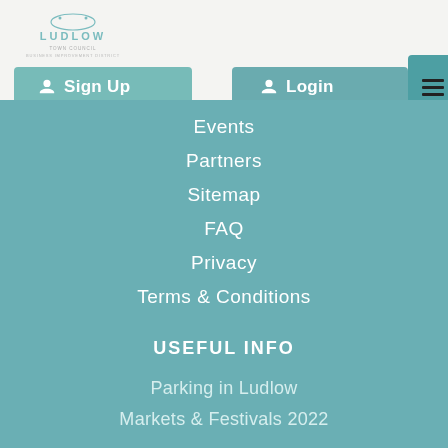[Figure (logo): Ludlow logo with tagline text]
Sign Up
Login
Events
Partners
Sitemap
FAQ
Privacy
Terms & Conditions
USEFUL INFO
Parking in Ludlow
Markets & Festivals 2022